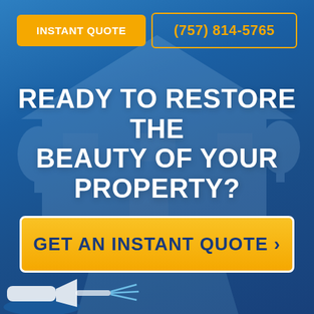[Figure (screenshot): Orange 'INSTANT QUOTE' button on the top left of the page header]
[Figure (screenshot): Phone number button '(757) 814-5765' with orange border on top right of page header]
READY TO RESTORE THE BEAUTY OF YOUR PROPERTY?
GET AN INSTANT QUOTE >